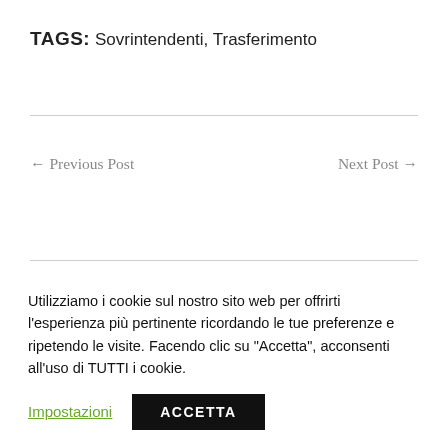TAGS: Sovrintendenti, Trasferimento
← Previous Post
Next Post →
Utilizziamo i cookie sul nostro sito web per offrirti l'esperienza più pertinente ricordando le tue preferenze e ripetendo le visite. Facendo clic su "Accetta", acconsenti all'uso di TUTTI i cookie.
Impostazioni
ACCETTA